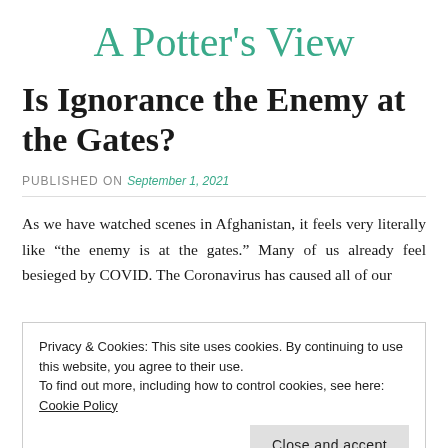A Potter's View
Is Ignorance the Enemy at the Gates?
PUBLISHED ON September 1, 2021
As we have watched scenes in Afghanistan, it feels very literally like “the enemy is at the gates.” Many of us already feel besieged by COVID. The Coronavirus has caused all of our
Privacy & Cookies: This site uses cookies. By continuing to use this website, you agree to their use.
To find out more, including how to control cookies, see here: Cookie Policy
Close and accept